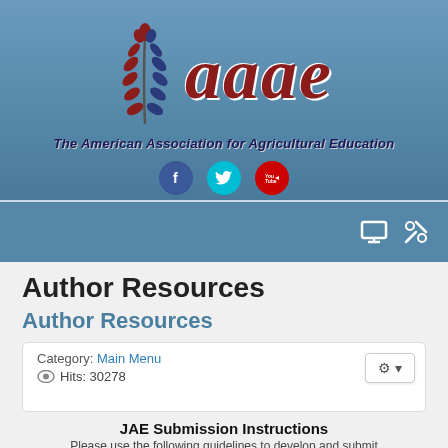[Figure (logo): AAAE logo with wheat/laurel icon, red italic 'aaae' text, tagline 'The American Association for Agricultural Education', and Facebook, Twitter, YouTube social icons on blue gradient banner]
[Figure (screenshot): Blue navigation bar with monitor icon and wrench/screwdriver icon on the right]
Author Resources
Author Resources
Category: Main Menu
Hits: 30278
JAE Submission Instructions
Please use the following guidelines to develop and submit